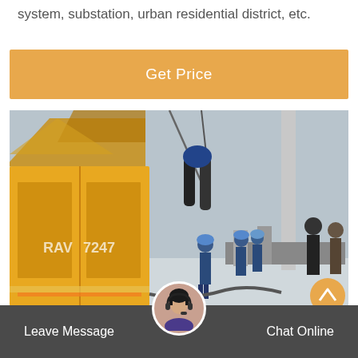system, substation, urban residential district, etc.
[Figure (other): Orange 'Get Price' button bar]
[Figure (photo): Outdoor electrical substation installation scene with workers in blue uniforms and hard hats, a yellow service truck (RAV 7247), large electrical equipment being hoisted by a crane, snowy ground, overcast sky.]
Leave Message  Chat Online